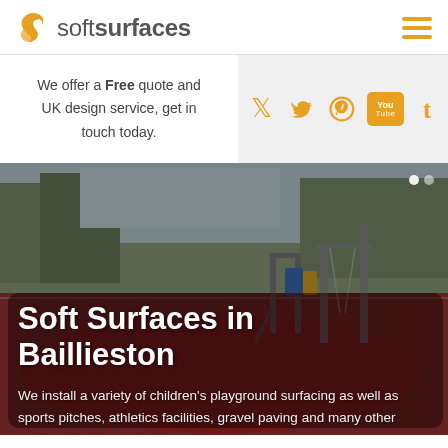softsurfaces logo and navigation
[Figure (logo): Soft Surfaces logo with orange S icon and text 'softsurfaces' in grey]
[Figure (infographic): Social media icons: Twitter, Pinterest, YouTube, Tumblr in orange on grey background]
We offer a Free quote and UK design service, get in touch today.
[Figure (photo): Photo of a children's playground with red rubberized surfacing, swings and climbing equipment, trees in background]
Soft Surfaces in Baillieston
We install a variety of children's playground surfacing as well as sports pitches, athletics facilities, gravel paving and many other outdoor flooring products.